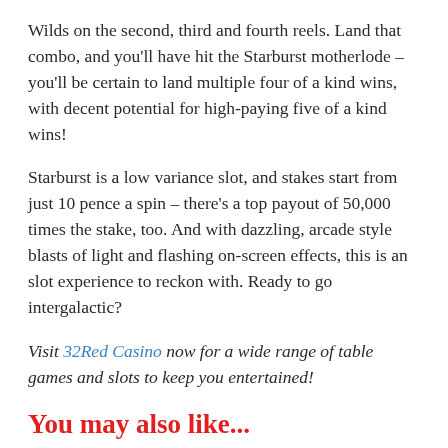Wilds on the second, third and fourth reels. Land that combo, and you'll have hit the Starburst motherlode – you'll be certain to land multiple four of a kind wins, with decent potential for high-paying five of a kind wins!
Starburst is a low variance slot, and stakes start from just 10 pence a spin – there's a top payout of 50,000 times the stake, too. And with dazzling, arcade style blasts of light and flashing on-screen effects, this is an slot experience to reckon with. Ready to go intergalactic?
Visit 32Red Casino now for a wide range of table games and slots to keep you entertained!
You may also like...